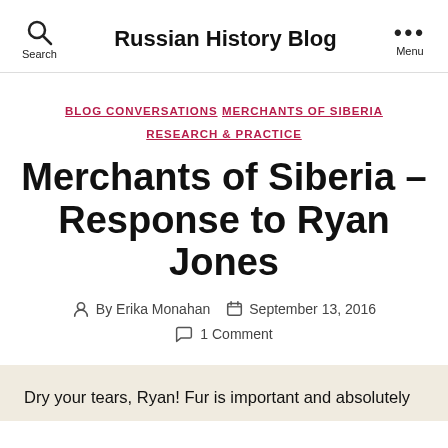Russian History Blog
BLOG CONVERSATIONS  MERCHANTS OF SIBERIA  RESEARCH & PRACTICE
Merchants of Siberia – Response to Ryan Jones
By Erika Monahan  September 13, 2016  1 Comment
Dry your tears, Ryan! Fur is important and absolutely